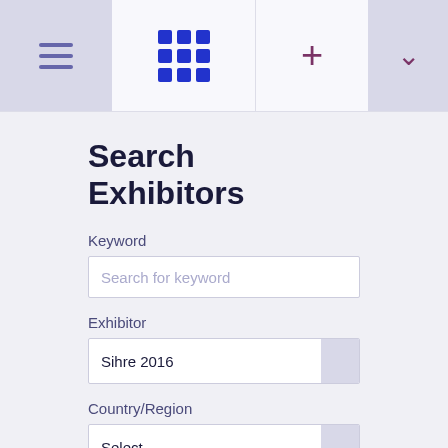[Figure (screenshot): Navigation bar with hamburger menu icon on left, blue grid/apps icon in center, plus sign and dropdown chevron on right]
Search Exhibitors
Keyword
Search for keyword
Exhibitor
Sihre 2016
Country/Region
Select
Hall: